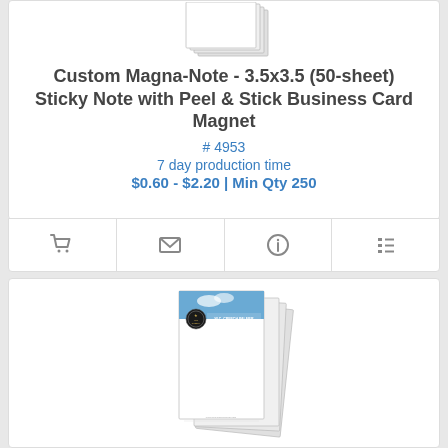[Figure (illustration): Sticky notepad stack illustration showing blank white notepad pages fanned out]
Custom Magna-Note - 3.5x3.5 (50-sheet) Sticky Note with Peel & Stick Business Card Magnet
# 4953
7 day production time
$0.60 - $2.20 | Min Qty 250
[Figure (illustration): Four icon buttons: shopping cart, envelope/email, info circle, and list/grid view]
[Figure (photo): Product photo of a custom sticky notepad with W.C. Creech Palmer Plantation & Museum branding on the header, shown as a fan of pages]